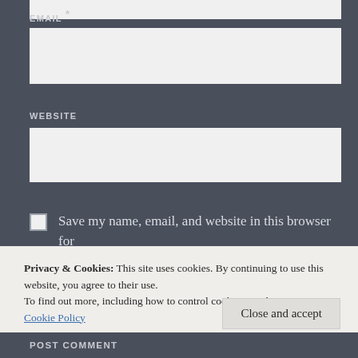[Figure (screenshot): Top partial input box (form field, cropped at top)]
EMAIL *
[Figure (screenshot): Email input text field (empty, light background)]
WEBSITE
[Figure (screenshot): Website input text field (empty, light background)]
Save my name, email, and website in this browser for the next time I comment.
Privacy & Cookies: This site uses cookies. By continuing to use this website, you agree to their use.
To find out more, including how to control cookies, see here:
Cookie Policy
Close and accept
POST COMMENT